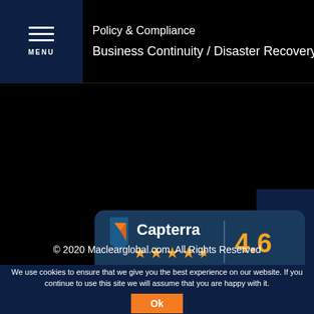MENU
Policy & Compliance
Business Continuity / Disaster Recovery
[Figure (logo): Capterra badge showing 4.6 rating with 4.5 orange stars on a dark teal rounded rectangle background]
[Figure (infographic): Share button with network/share icon and SHARE label on dark navy background]
© 2020 Maclearglobal.com. All Rights Reserved
We use cookies to ensure that we give you the best experience on our website. If you continue to use this site we will assume that you are happy with it.